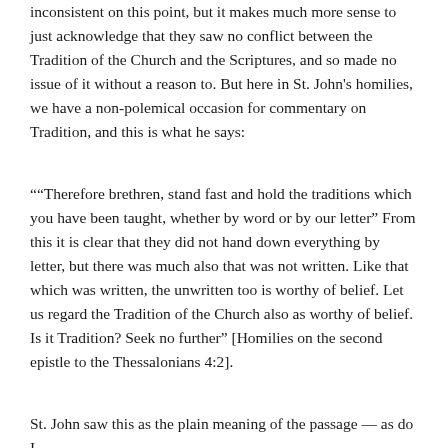inconsistent on this point, but it makes much more sense to just acknowledge that they saw no conflict between the Tradition of the Church and the Scriptures, and so made no issue of it without a reason to. But here in St. John's homilies, we have a non-polemical occasion for commentary on Tradition, and this is what he says:
""Therefore brethren, stand fast and hold the traditions which you have been taught, whether by word or by our letter" From this it is clear that they did not hand down everything by letter, but there was much also that was not written. Like that which was written, the unwritten too is worthy of belief. Let us regard the Tradition of the Church also as worthy of belief. Is it Tradition? Seek no further" [Homilies on the second epistle to the Thessalonians 4:2].
St. John saw this as the plain meaning of the passage — as do I.
Secondly, he does not simply set scripture in opposition to ingenious reasoning. He tells us what he means by